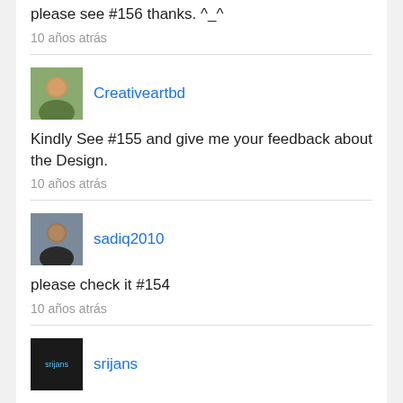please see #156 thanks. ^_^
10 años atrás
Creativeartbd
Kindly See #155 and give me your feedback about the Design.
10 años atrás
sadiq2010
please check it #154
10 años atrás
srijans